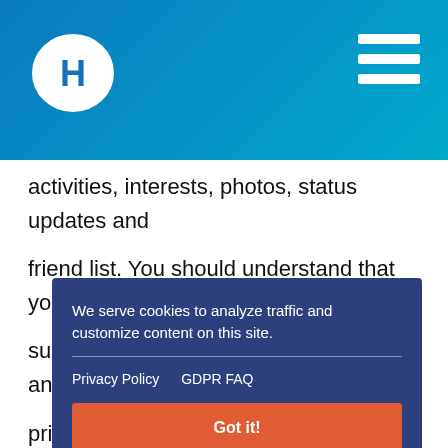Hilton hotel website header with logo and navigation menu
activities, interests, photos, status updates and friend list. You should understand that you may be subject to the terms and conditions and any privacy policies of the social media site and that Hi ac
of
el
[Figure (other): Cookie consent overlay: 'We serve cookies to analyze traffic and customize content on this site.' with links to Privacy Policy and GDPR FAQ, and a 'Got it!' button]